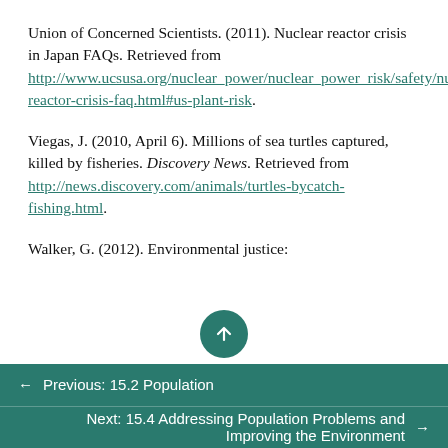Union of Concerned Scientists. (2011). Nuclear reactor crisis in Japan FAQs. Retrieved from http://www.ucsusa.org/nuclear_power/nuclear_power_risk/safety/nuclear-reactor-crisis-faq.html#us-plant-risk.
Viegas, J. (2010, April 6). Millions of sea turtles captured, killed by fisheries. Discovery News. Retrieved from http://news.discovery.com/animals/turtles-bycatch-fishing.html.
Walker, G. (2012). Environmental justice:
← Previous: 15.2 Population
Next: 15.4 Addressing Population Problems and Improving the Environment →